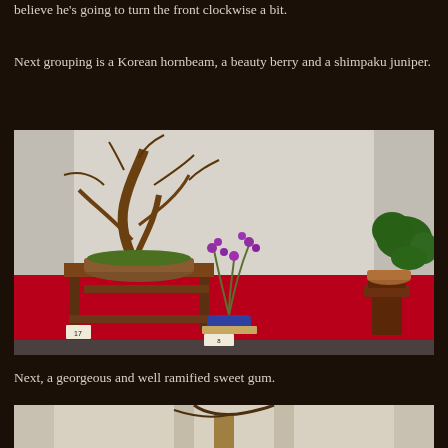believe he's going to turn the front clockwise a bit.
Next grouping is a Korean hornbeam, a beauty berry and a shimpaku juniper.
[Figure (photo): A display of three bonsai trees on a red tablecloth. Left: a large Korean hornbeam with dramatic branching on a wooden stand, numbered 17. Center: a small beauty berry bonsai with purple berries in a blue pot on a bamboo mat, numbered. Right: a shimpaku juniper with cascading green foliage on a tall wooden stand, numbered 8.]
Next, a georgeous and well ramified sweet gum.
[Figure (photo): Partial view of a bonsai display showing the top portion of a sweet gum bonsai tree against a light curtain background, on a wooden stand.]